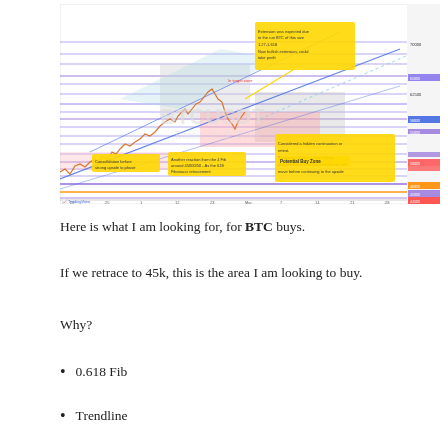[Figure (continuous-plot): Bitcoin (BTC/USD) price chart with technical analysis annotations. Shows price action with trendlines, Fibonacci levels, support/resistance zones, and multiple callout annotations in yellow boxes describing trade setup, potential drop zone, Fibonacci retracement, and potential buy zone around 45k. Chart includes horizontal purple/blue support/resistance lines, diagonal trendlines, and shaded regions.]
Here is what I am looking for, for BTC buys.
If we retrace to 45k, this is the area I am looking to buy.
Why?
0.618 Fib
Trendline